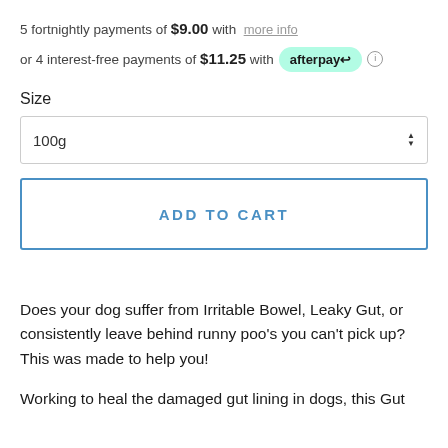5 fortnightly payments of $9.00 with more info
or 4 interest-free payments of $11.25 with afterpay
Size
100g
ADD TO CART
Does your dog suffer from Irritable Bowel, Leaky Gut, or consistently leave behind runny poo's you can't pick up? This was made to help you!
Working to heal the damaged gut lining in dogs, this Gut